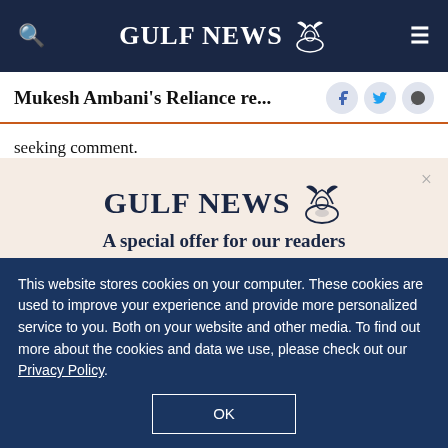GULF NEWS
Mukesh Ambani's Reliance re...
seeking comment.
[Figure (logo): Gulf News logo with eagle emblem - advertisement modal for special reader offer]
A special offer for our readers
Get the two years All-Access subscription now
This website stores cookies on your computer. These cookies are used to improve your experience and provide more personalized service to you. Both on your website and other media. To find out more about the cookies and data we use, please check out our Privacy Policy.